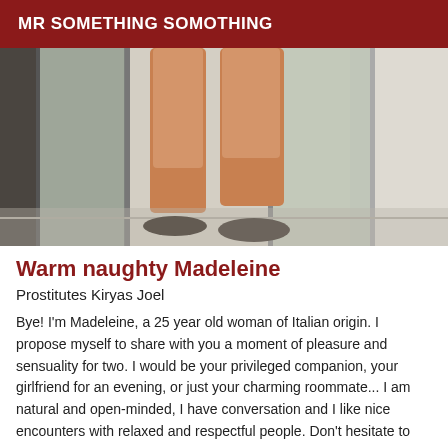MR SOMETHING SOMOTHING
[Figure (photo): Photo showing woman's legs near a glass door entrance, wearing flat shoes, standing on a concrete surface]
Warm naughty Madeleine
Prostitutes Kiryas Joel
Bye! I'm Madeleine, a 25 year old woman of Italian origin. I propose myself to share with you a moment of pleasure and sensuality for two. I would be your privileged companion, your girlfriend for an evening, or just your charming roommate... I am natural and open-minded, I have conversation and I like nice encounters with relaxed and respectful people. Don't hesitate to